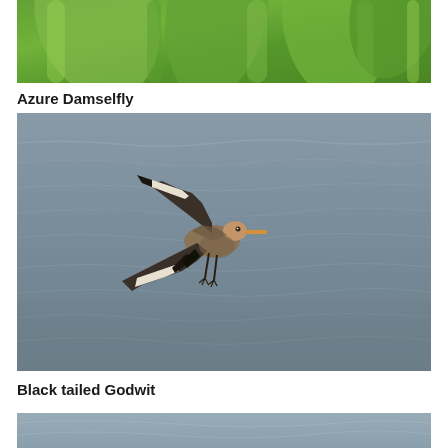[Figure (photo): Top portion of a photo showing green reeds/plants, cropped at the top of the page — partial view of Azure Damselfly habitat photo]
Azure Damselfly
[Figure (photo): A Black-tailed Godwit bird in flight with wings spread wide, showing distinctive black and white wing pattern, over a rippling grey-brown water surface]
Black tailed Godwit
[Figure (photo): Bottom partial view of another photo, showing a grey-blue water surface — cropped at the bottom of the page]